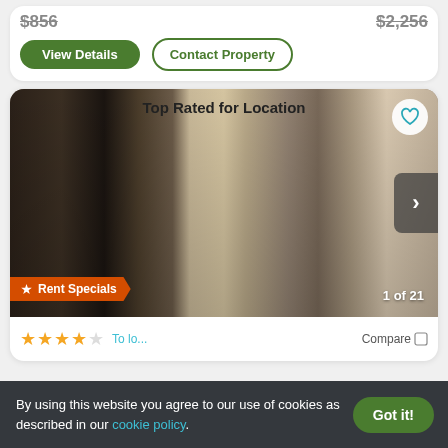[Figure (screenshot): Top portion of apartment listing card showing prices and buttons: View Details (green filled) and Contact Property (outlined)]
Top Rated for Location
[Figure (photo): Interior apartment photo showing kitchen with black appliances and open view to dining area. Badge: Rent Specials. Counter: 1 of 21.]
Rent Specials
1 of 21
By using this website you agree to our use of cookies as described in our cookie policy.
Got it!